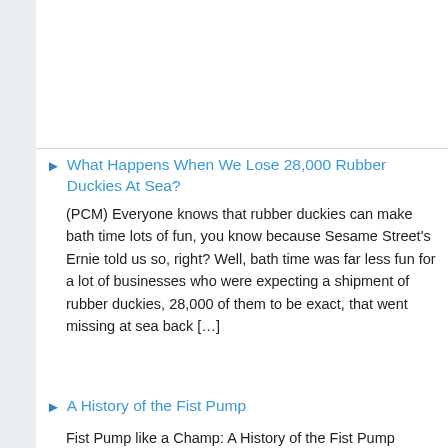What Happens When We Lose 28,000 Rubber Duckies At Sea?
(PCM) Everyone knows that rubber duckies can make bath time lots of fun, you know because Sesame Street's Ernie told us so, right? Well, bath time was far less fun for a lot of businesses who were expecting a shipment of rubber duckies, 28,000 of them to be exact, that went missing at sea back [...]
A History of the Fist Pump
Fist Pump like a Champ: A History of the Fist Pump